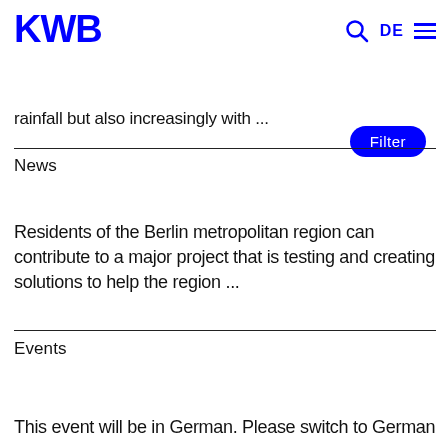KWB
rainfall but also increasingly with ...
News
Residents of the Berlin metropolitan region can contribute to a major project that is testing and creating solutions to help the region ...
Events
This event will be in German. Please switch to German